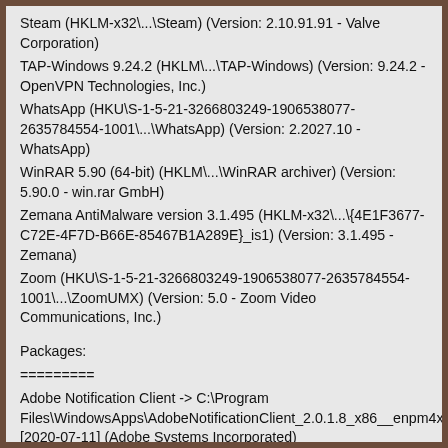Steam (HKLM-x32\...\Steam) (Version: 2.10.91.91 - Valve Corporation)
TAP-Windows 9.24.2 (HKLM\...\TAP-Windows) (Version: 9.24.2 - OpenVPN Technologies, Inc.)
WhatsApp (HKU\S-1-5-21-3266803249-1906538077-2635784554-1001\...\WhatsApp) (Version: 2.2027.10 - WhatsApp)
WinRAR 5.90 (64-bit) (HKLM\...\WinRAR archiver) (Version: 5.90.0 - win.rar GmbH)
Zemana AntiMalware version 3.1.495 (HKLM-x32\...\{4E1F3677-C72E-4F7D-B66E-85467B1A289E}_is1) (Version: 3.1.495 - Zemana)
Zoom (HKU\S-1-5-21-3266803249-1906538077-2635784554-1001\...\ZoomUMX) (Version: 5.0 - Zoom Video Communications, Inc.)

Packages:
=========
Adobe Notification Client -> C:\Program Files\WindowsApps\AdobeNotificationClient_2.0.1.8_x86__enpm4xejd91yc [2020-07-11] (Adobe Systems Incorporated)
ASUS Product Registration Program (APRP) -> C:\Program Files\WindowsApps\B9ECED6F.ASUSProductRegistrationProgramAPRP_2.1.7.0_x86__qmba6cd70vzyy [2019-05-15] (ASUSTeK